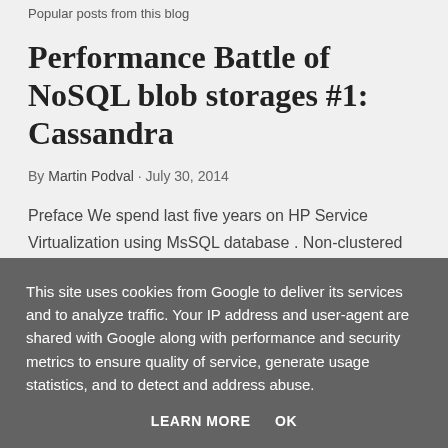Popular posts from this blog
Performance Battle of NoSQL blob storages #1: Cassandra
By Martin Podval · July 30, 2014
Preface We spend last five years on HP Service Virtualization using MsSQL database . Non-clustered server. Our app utilizes this system for all kinds of persistence. No polyglot so far. As we tuned the performance of the response time - we started at ...
This site uses cookies from Google to deliver its services and to analyze traffic. Your IP address and user-agent are shared with Google along with performance and security metrics to ensure quality of service, generate usage statistics, and to detect and address abuse.
LEARN MORE   OK